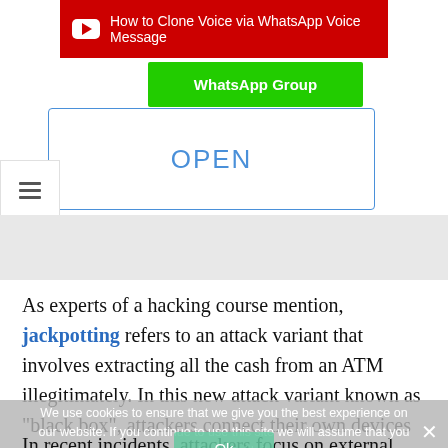[Figure (screenshot): YouTube video link bar with red background and white play icon: 'How to Clone Voice via WhatsApp Voice Message']
[Figure (screenshot): Green WhatsApp Group button]
[Figure (screenshot): White card with blue-bordered OPEN button]
[Figure (screenshot): Hamburger menu icon (three horizontal lines)]
As experts of a hacking course mention, jackpotting refers to an attack variant that involves extracting all the cash from an ATM illegitimately. In this new attack variant known as “black box”, attackers connect their own devices to the machine, compromising the system completely.
In recent incidents, attackers focus on external systems and are destroying parts of the fascia to gain physical access to the inner compartments. The hackers then disconnect the USB cable between the CMD-V4 dispenser and the electronic device, or a
We use cookies to ensure that we give you the best experience on our website. If you continue to use this site we will assume that you are happy with it.